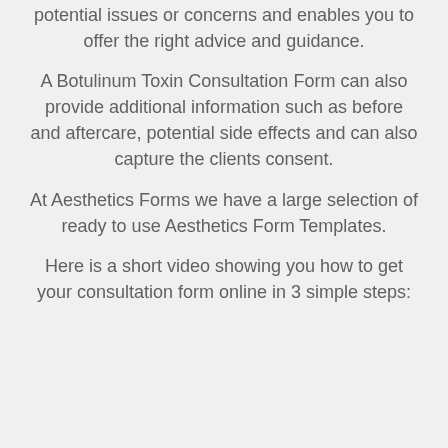potential issues or concerns and enables you to offer the right advice and guidance.
A Botulinum Toxin Consultation Form can also provide additional information such as before and aftercare, potential side effects and can also capture the clients consent.
At Aesthetics Forms we have a large selection of ready to use Aesthetics Form Templates.
Here is a short video showing you how to get your consultation form online in 3 simple steps: